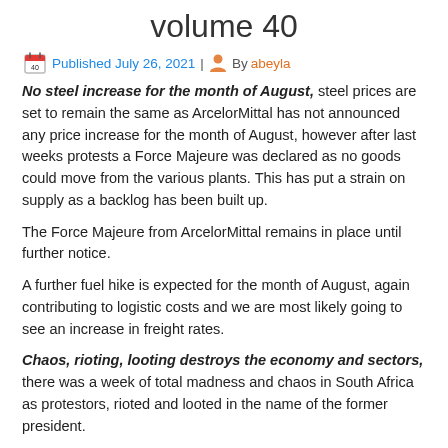volume 40
Published July 26, 2021 | By abeyla
No steel increase for the month of August, steel prices are set to remain the same as ArcelorMittal has not announced any price increase for the month of August, however after last weeks protests a Force Majeure was declared as no goods could move from the various plants. This has put a strain on supply as a backlog has been built up.
The Force Majeure from ArcelorMittal remains in place until further notice.
A further fuel hike is expected for the month of August, again contributing to logistic costs and we are most likely going to see an increase in freight rates.
Chaos, rioting, looting destroys the economy and sectors, there was a week of total madness and chaos in South Africa as protestors, rioted and looted in the name of the former president.
To looting and burning shops, to stealing infrastructure, the total cost of damages is still being calculated.
KwaZulu-Natal's total cost of damages has been calculated to over 20Billion Rand and an estimated 55% damage to the province's GDP.